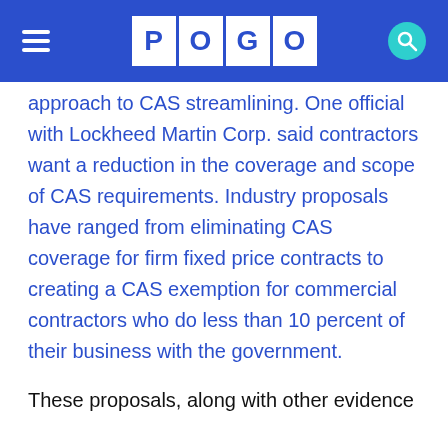POGO
approach to CAS streamlining. One official with Lockheed Martin Corp. said contractors want a reduction in the coverage and scope of CAS requirements. Industry proposals have ranged from eliminating CAS coverage for firm fixed price contracts to creating a CAS exemption for commercial contractors who do less than 10 percent of their business with the government.
These proposals, along with other evidence